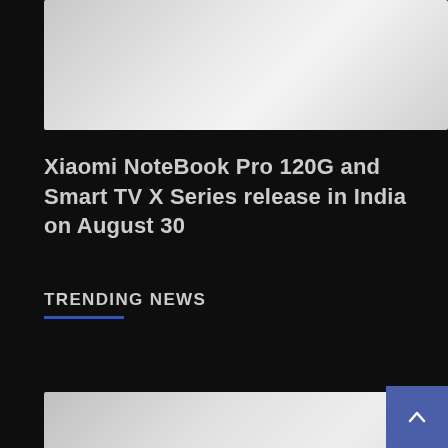[Figure (photo): Top image placeholder with light gray gradient background]
Xiaomi NoteBook Pro 120G and Smart TV X Series release in India on August 30
TRENDING NEWS
[Figure (photo): Bottom image placeholder with light gray gradient background]